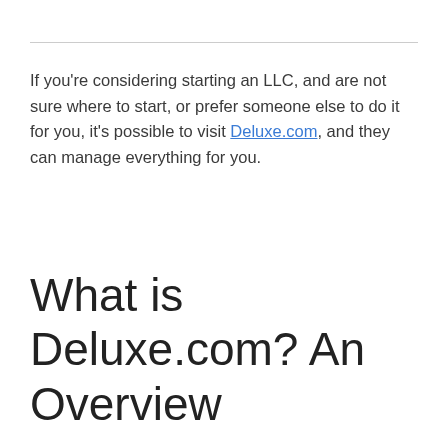If you're considering starting an LLC, and are not sure where to start, or prefer someone else to do it for you, it's possible to visit Deluxe.com, and they can manage everything for you.
What is Deluxe.com? An Overview